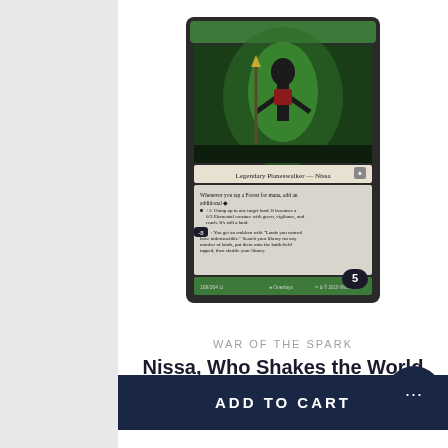[Figure (photo): Magic: The Gathering card — Nissa, Who Shakes the World (WAR-169). Green legendary planeswalker card with a glowing green figure holding a staff, set against a dark background. Card text shows Legendary Planeswalker — Nissa with abilities listed. Loyalty counter shows 5.]
WAR OF THE SPARK
Nissa, Who Shakes the World
NM
$7.90 AUD
ADD TO CART